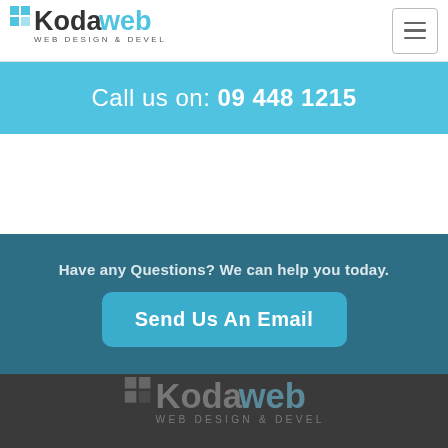Kodaweb Web Design & Development
Call us on: 09 448 1215
Have any Questions? We can help you today.
Send Us An Email
[Figure (logo): Kodaweb Web Design & Development logo in dark/grey tones in footer]